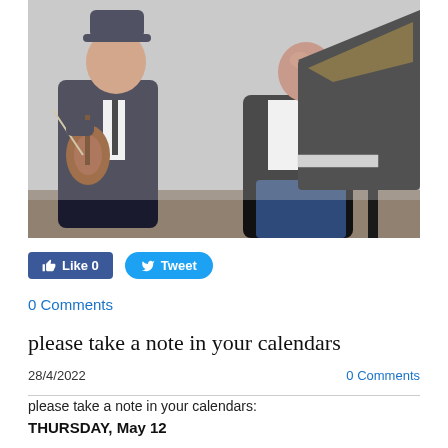[Figure (photo): Two men posing in front of a piano. The man on the left wears a dark suit, a tie, and a fedora hat, and holds a violin. The man on the right wears a black jacket and white t-shirt, leaning against a grand piano.]
Like 0   Tweet
0 Comments
please take a note in your calendars
28/4/2022   0 Comments
please take a note in your calendars:
THURSDAY, May 12